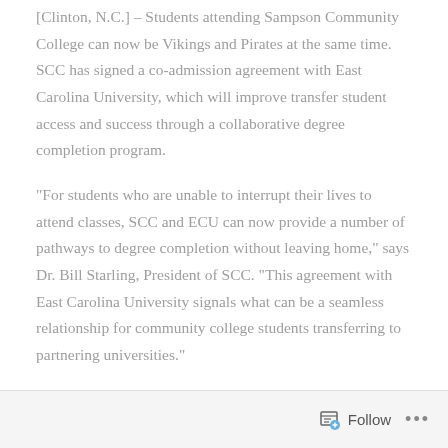[Clinton, N.C.] – Students attending Sampson Community College can now be Vikings and Pirates at the same time. SCC has signed a co-admission agreement with East Carolina University, which will improve transfer student access and success through a collaborative degree completion program.
“For students who are unable to interrupt their lives to attend classes, SCC and ECU can now provide a number of pathways to degree completion without leaving home,” says Dr. Bill Starling, President of SCC. “This agreement with East Carolina University signals what can be a seamless relationship for community college students transferring to partnering universities.”
Follow ...